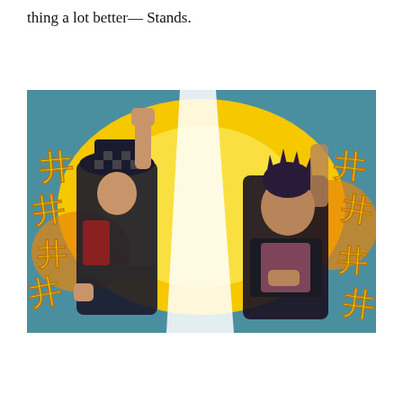thing a lot better— Stands.
[Figure (illustration): Anime screenshot from JoJo's Bizarre Adventure showing two characters in fighting poses against a bright yellow and orange energy background with Japanese kanji characters overlaid. Left character wears a dark outfit and checkered hat; right character has dark spiky hair and wears a dark top with pink accents.]